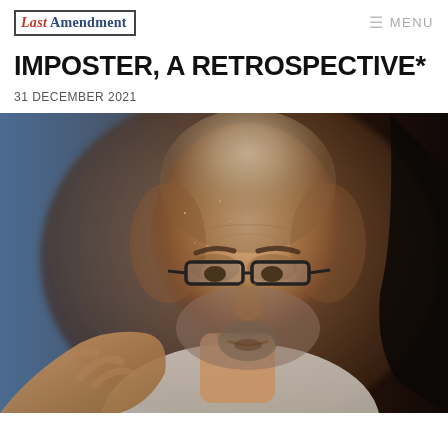Last Amendment | MENU
IMPOSTER, A RETROSPECTIVE*
31 DECEMBER 2021
[Figure (photo): Close-up photograph of a bald middle-aged man with glasses, wearing a beard, looking forward with a serious expression. His hand is visible in the lower left. The background is blurred with blue and warm brown tones.]